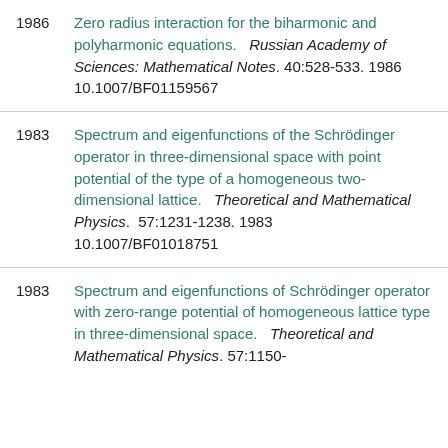1986 Zero radius interaction for the biharmonic and polyharmonic equations. Russian Academy of Sciences: Mathematical Notes. 40:528-533. 1986 10.1007/BF01159567
1983 Spectrum and eigenfunctions of the Schrödinger operator in three-dimensional space with point potential of the type of a homogeneous two-dimensional lattice. Theoretical and Mathematical Physics. 57:1231-1238. 1983 10.1007/BF01018751
1983 Spectrum and eigenfunctions of Schrödinger operator with zero-range potential of homogeneous lattice type in three-dimensional space. Theoretical and Mathematical Physics. 57:1150-...